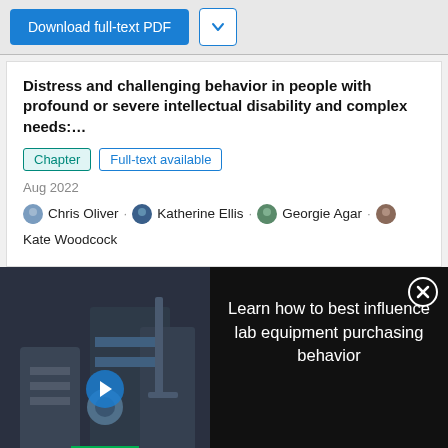Download full-text PDF
Distress and challenging behavior in people with profound or severe intellectual disability and complex needs:…
Chapter · Full-text available
Aug 2022
Chris Oliver · Katherine Ellis · Georgie Agar · Kate Woodcock
[Figure (screenshot): Video ad thumbnail showing lab equipment with text overlay 'LEARN HOW TO BEST INFLUENCE LAB EQUIPMENT PURCHASING BEHAVIOR' with a play button, and beside it on dark background text 'Learn how to best influence lab equipment purchasing behavior' with a close button]
[Figure (photo): ThermoFisher Scientific CRISPR genome editing resource guide book cover with dark space-themed background]
CRISPR genome editing resource guide